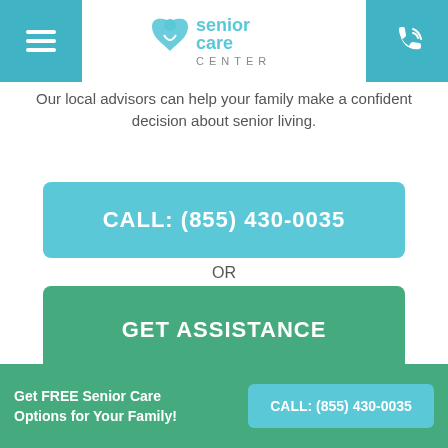senior care CENTER
Our local advisors can help your family make a confident decision about senior living.
CALL: (855) 430-0035
OR
GET ASSISTANCE
Get FREE Senior Care Options for Your Family!
Get FREE Senior Care Options for Your Family! CALL: (855) 430-0035